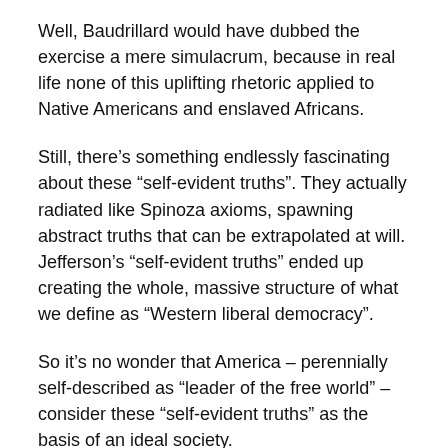Well, Baudrillard would have dubbed the exercise a mere simulacrum, because in real life none of this uplifting rhetoric applied to Native Americans and enslaved Africans.
Still, there’s something endlessly fascinating about these “self-evident truths”. They actually radiated like Spinoza axioms, spawning abstract truths that can be extrapolated at will. Jefferson’s “self-evident truths” ended up creating the whole, massive structure of what we define as “Western liberal democracy”.
So it’s no wonder that America – perennially self-described as “leader of the free world” – consider these “self-evident truths” as the basis of an ideal society.
And it’s this messianic river of fervent truth flowing out of a Himalaya of Morality that leads Americans to dismiss as…